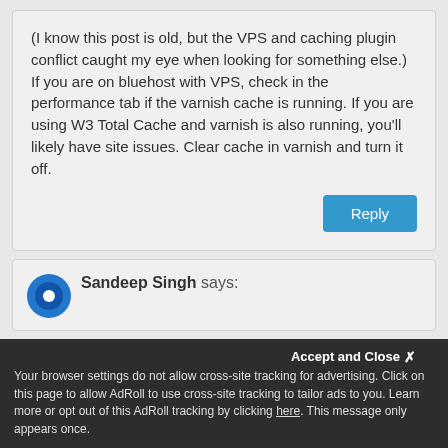(I know this post is old, but the VPS and caching plugin conflict caught my eye when looking for something else.) If you are on bluehost with VPS, check in the performance tab if the varnish cache is running. If you are using W3 Total Cache and varnish is also running, you'll likely have site issues. Clear cache in varnish and turn it off.
Reply
Sandeep Singh says:
Accept and Close
Your browser settings do not allow cross-site tracking for advertising. Click on this page to allow AdRoll to use cross-site tracking to tailor ads to you. Learn more or opt out of this AdRoll tracking by clicking here. This message only appears once.